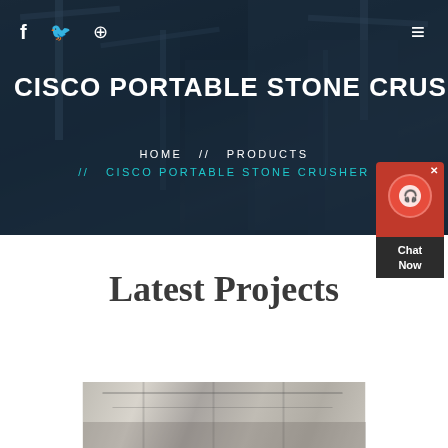[Figure (photo): Hero banner with construction site background — cranes and skyscrapers under a dark blue overlay]
f  🐦  ⊕   ≡
CISCO PORTABLE STONE CRUSH
HOME  //  PRODUCTS  //  CISCO PORTABLE STONE CRUSHER
[Figure (other): Red chat widget with headset icon and 'Chat Now' label]
Latest Projects
[Figure (photo): Construction / industrial interior photo at the bottom of the page]